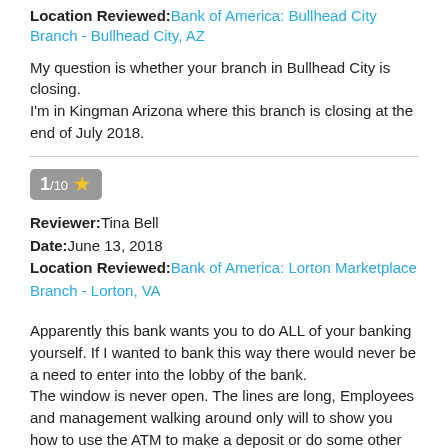Location Reviewed: Bank of America: Bullhead City Branch - Bullhead City, AZ
My question is whether your branch in Bullhead City is closing.
I'm in Kingman Arizona where this branch is closing at the end of July 2018.
1/10 ★
Reviewer: Tina Bell
Date: June 13, 2018
Location Reviewed: Bank of America: Lorton Marketplace Branch - Lorton, VA
Apparently this bank wants you to do ALL of your banking yourself. If I wanted to bank this way there would never be a need to enter into the lobby of the bank.
The window is never open. The lines are long, Employees and management walking around only will to show you how to use the ATM to make a deposit or do some other type of banking yourself. What's the